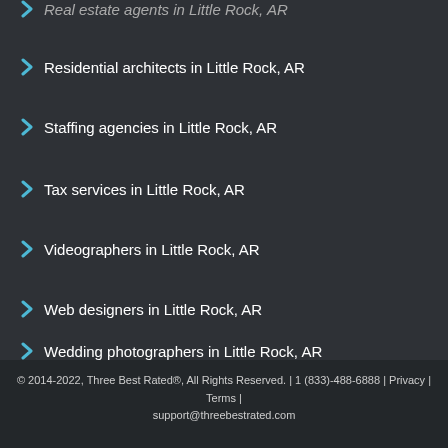Real estate agents in Little Rock, AR
Residential architects in Little Rock, AR
Staffing agencies in Little Rock, AR
Tax services in Little Rock, AR
Videographers in Little Rock, AR
Web designers in Little Rock, AR
Wedding photographers in Little Rock, AR
© 2014-2022, Three Best Rated®, All Rights Reserved. | 1 (833)-488-6888 | Privacy | Terms | support@threebestrated.com